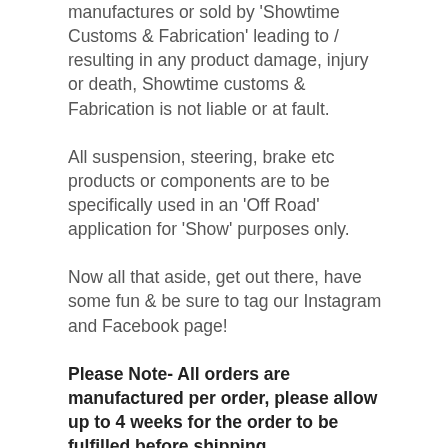manufactures or sold by 'Showtime Customs & Fabrication' leading to / resulting in any product damage, injury or death, Showtime customs & Fabrication is not liable or at fault.
All suspension, steering, brake etc products or components are to be specifically used in an 'Off Road' application for 'Show' purposes only.
Now all that aside, get out there, have some fun & be sure to tag our Instagram and Facebook page!
Please Note- All orders are manufactured per order, please allow up to 4 weeks for the order to be fulfilled before shipping. If you have any queries on turn around time please don't hesitate to get in touch with us.
Do NOT place the order if you feel these wait...